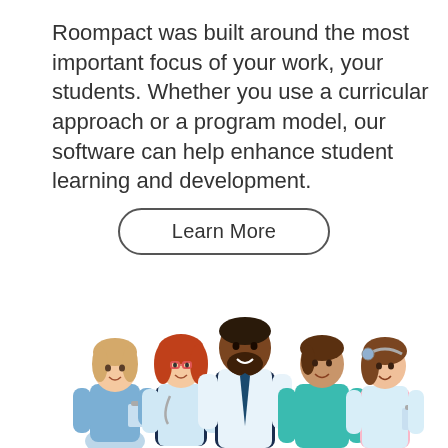Roompact was built around the most important focus of your work, your students. Whether you use a curricular approach or a program model, our software can help enhance student learning and development.
Learn More
[Figure (illustration): Group of five diverse cartoon medical/healthcare professionals and students standing together, including individuals in scrubs, white lab coats, and medical headgear]